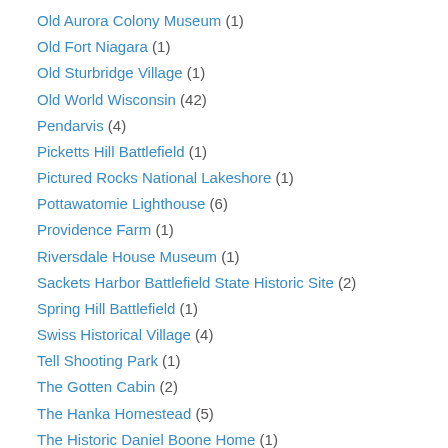Old Aurora Colony Museum (1)
Old Fort Niagara (1)
Old Sturbridge Village (1)
Old World Wisconsin (42)
Pendarvis (4)
Picketts Hill Battlefield (1)
Pictured Rocks National Lakeshore (1)
Pottawatomie Lighthouse (6)
Providence Farm (1)
Riversdale House Museum (1)
Sackets Harbor Battlefield State Historic Site (2)
Spring Hill Battlefield (1)
Swiss Historical Village (4)
Tell Shooting Park (1)
The Gotten Cabin (2)
The Hanka Homestead (5)
The Historic Daniel Boone Home (1)
The National Road (1)
The Shrine Of Our Lady Of Good Hope (3)
The Wisconsin State Capitol (1)